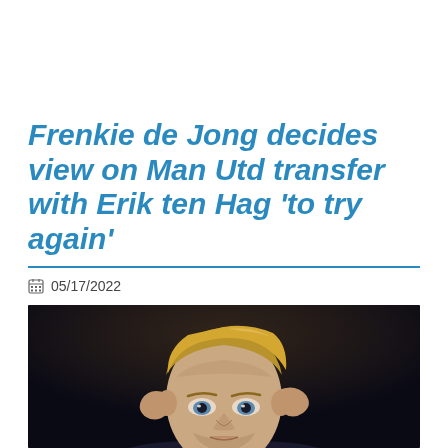Frenkie de Jong decides view on Man Utd transfer with Erik ten Hag 'to try again'
05/17/2022
[Figure (photo): Close-up photo of Frenkie de Jong, a blond footballer, with his hands raised near his head, against a dark background.]